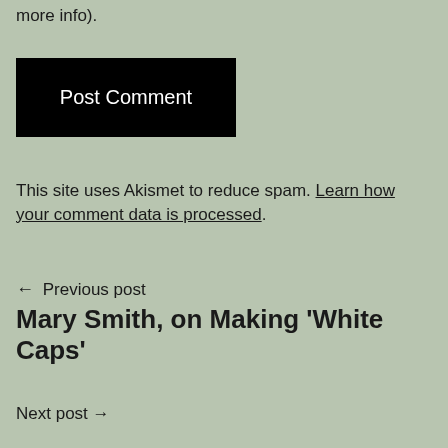more info).
[Figure (other): Black 'Post Comment' button]
This site uses Akismet to reduce spam. Learn how your comment data is processed.
← Previous post
Mary Smith, on Making 'White Caps'
Next post →